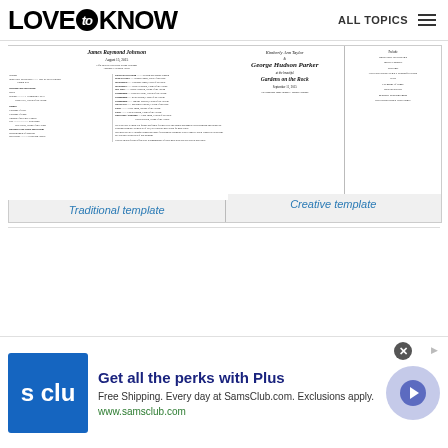LOVE to KNOW | ALL TOPICS
[Figure (screenshot): Two wedding program templates side by side: Traditional template (left) and Creative template (right)]
Traditional template
Creative template
[Figure (infographic): Sam's Club advertisement: Get all the perks with Plus. Free Shipping. Every day at SamsClub.com. Exclusions apply. www.samsclub.com]